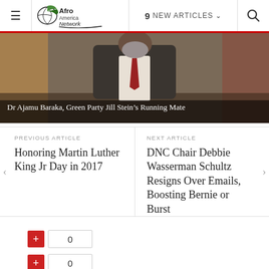≡  Afro America Network  9 NEW ARTICLES  🔍
[Figure (photo): A man in a striped suit with a beard, seated at what appears to be a podium or table, with caption 'Dr Ajamu Baraka, Green Party Jill Stein's Running Mate']
Dr Ajamu Baraka, Green Party Jill Stein's Running Mate
PREVIOUS ARTICLE
Honoring Martin Luther King Jr Day in 2017
NEXT ARTICLE
DNC Chair Debbie Wasserman Schultz Resigns Over Emails, Boosting Bernie or Burst
0
0
US Presidential candidate running under